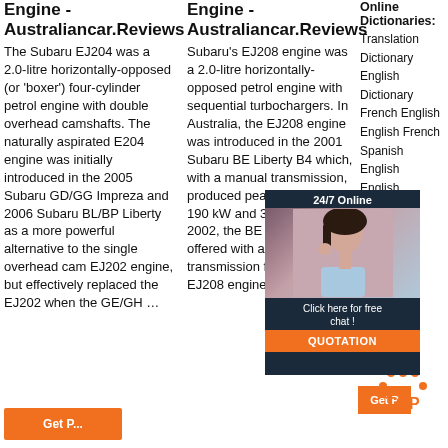Engine - Australiancar.Reviews
The Subaru EJ204 was a 2.0-litre horizontally-opposed (or 'boxer') four-cylinder petrol engine with double overhead camshafts. The naturally aspirated E204 engine was initially introduced in the 2005 Subaru GD/GG Impreza and 2006 Subaru BL/BP Liberty as a more powerful alternative to the single overhead cam EJ202 engine, but effectively replaced the EJ202 when the GE/GH …
Engine - Australiancar.Reviews
Subaru's EJ208 engine was a 2.0-litre horizontally-opposed petrol engine with sequential turbochargers. In Australia, the EJ208 engine was introduced in the 2001 Subaru BE Liberty B4 which, with a manual transmission, produced peak outputs of 190 kW and 320 Nm. From 2002, the BE Liberty B4 was offered with an automatic transmission for which the EJ208 engine was …
Online Dictionaries:
Translation Dictionary
English Dictionary
French English
English French
Spanish English
English
Portugu
English
German
English
Dutch E
English
[Figure (infographic): 24/7 Online chat widget with woman photo, 'Click here for free chat!' text and orange QUOTATION button]
[Figure (logo): Orange TOP logo with arrow/triangle dots above the word TOP]